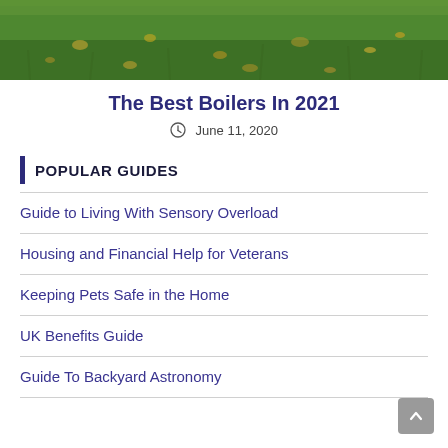[Figure (photo): A close-up photograph of green grass with some fallen leaves scattered on it, shown as a horizontal strip at the top of the page.]
The Best Boilers In 2021
June 11, 2020
POPULAR GUIDES
Guide to Living With Sensory Overload
Housing and Financial Help for Veterans
Keeping Pets Safe in the Home
UK Benefits Guide
Guide To Backyard Astronomy